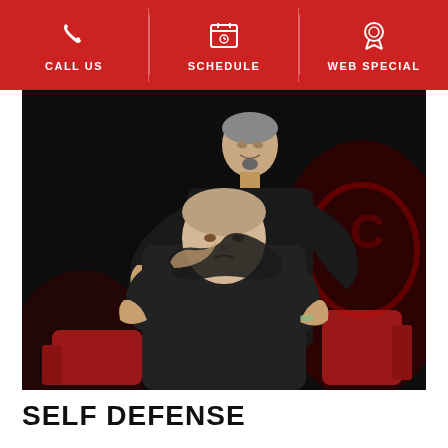CALL US | SCHEDULE | WEB SPECIAL
[Figure (photo): Two people in black shirts demonstrating a self-defense chokehold technique. One person (instructor) is standing behind the other (student) with arms around the neck in a rear chokehold. Red chairs and dark background with a red logo visible.]
SELF DEFENSE